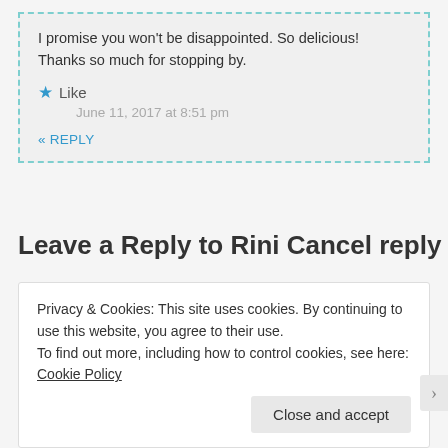I promise you won't be disappointed. So delicious! Thanks so much for stopping by.
★ Like
June 11, 2017 at 8:51 pm
« REPLY
Leave a Reply to Rini Cancel reply
Your email address will not be published. Required fields are marked *
Privacy & Cookies: This site uses cookies. By continuing to use this website, you agree to their use.
To find out more, including how to control cookies, see here: Cookie Policy
Close and accept